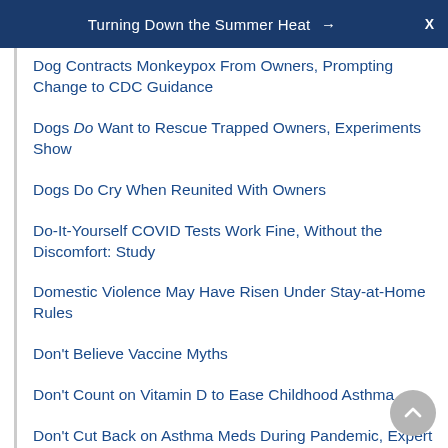Turning Down the Summer Heat → X
Dog Contracts Monkeypox From Owners, Prompting Change to CDC Guidance
Dogs Do Want to Rescue Trapped Owners, Experiments Show
Dogs Do Cry When Reunited With Owners
Do-It-Yourself COVID Tests Work Fine, Without the Discomfort: Study
Domestic Violence May Have Risen Under Stay-at-Home Rules
Don't Believe Vaccine Myths
Don't Count on Vitamin D to Ease Childhood Asthma
Don't Cut Back on Asthma Meds During Pandemic, Expert Advises